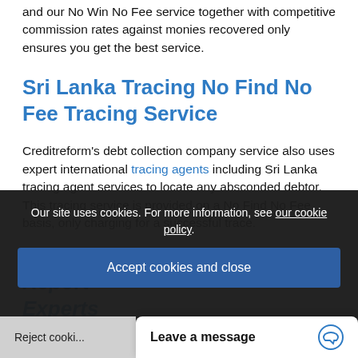and our No Win No Fee service together with competitive commission rates against monies recovered only ensures you get the best service.
Sri Lanka Tracing No Find No Fee Tracing Service
Creditreform's debt collection company service also uses expert international tracing agents including Sri Lanka tracing agent services to locate any absconded debtor. This tracing service is provided on a No Find No Fee basis, only charging for a successful trace.
Our site uses cookies. For more information, see our cookie policy.
Accept cookies and close
Specialist Business Credit Report Experts
Reject cookies
Leave a message